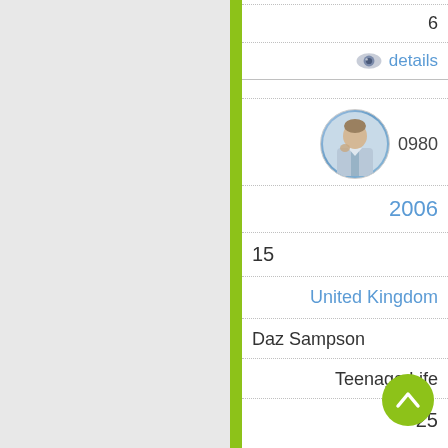6
[Figure (illustration): Eye icon next to 'details' link in blue]
details
[Figure (photo): Circular profile photo of a man in a suit with text 0980]
0980
2006
15
United Kingdom
Daz Sampson
Teenage Life
25